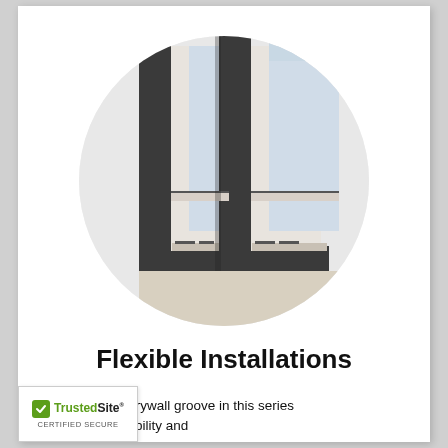[Figure (photo): Close-up photo of window frame installation showing two dark charcoal/black window frames with white interior sashes, displayed within a circular crop. The frames show drywall groove detail at the base, illustrating flexible installation configurations.]
Flexible Installations
mination of the drywall groove in this series f installation flexibility and